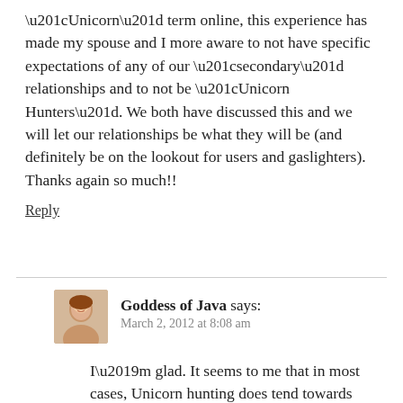“Unicorn” term online, this experience has made my spouse and I more aware to not have specific expectations of any of our “secondary” relationships and to not be “Unicorn Hunters”. We both have discussed this and we will let our relationships be what they will be (and definitely be on the lookout for users and gaslighters). Thanks again so much!!
Reply
Goddess of Java says:
March 2, 2012 at 8:08 am
I’m glad. It seems to me that in most cases, Unicorn hunting does tend towards Procrustean relationships. I think it is cruel to try to force people into a specified hole